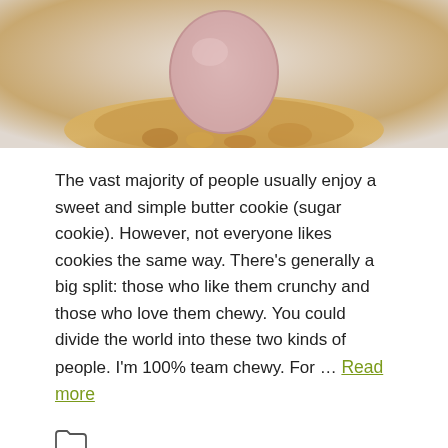[Figure (photo): Close-up photo of a sugar cookie or butter cookie with a pink round shape (possibly a macaron or egg) resting on crumbled cookie pieces, on a light background.]
The vast majority of people usually enjoy a sweet and simple butter cookie (sugar cookie). However, not everyone likes cookies the same way. There’s generally a big split: those who like them crunchy and those who love them chewy. You could divide the world into these two kinds of people. I’m 100% team chewy. For … Read more
Desserts, Geek Recipes, Recipes with Video